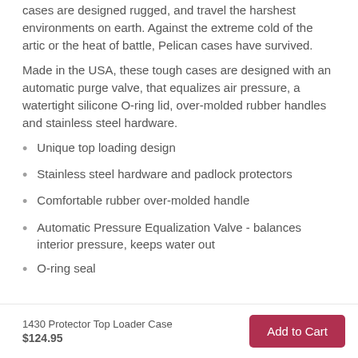cases are designed rugged, and travel the harshest environments on earth. Against the extreme cold of the artic or the heat of battle, Pelican cases have survived.
Made in the USA, these tough cases are designed with an automatic purge valve, that equalizes air pressure, a watertight silicone O-ring lid, over-molded rubber handles and stainless steel hardware.
Unique top loading design
Stainless steel hardware and padlock protectors
Comfortable rubber over-molded handle
Automatic Pressure Equalization Valve - balances interior pressure, keeps water out
O-ring seal
1430 Protector Top Loader Case $124.95  Add to Cart